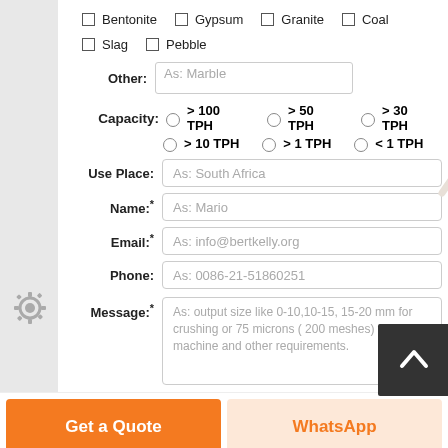☐ Bentonite  ☐ Gypsum  ☐ Granite  ☐ Coal
☐ Slag  ☐ Pebble
Other:  [As: Marble]
Capacity:  ○ > 100 TPH  ○ > 50 TPH  ○ > 30 TPH  ○ > 10 TPH  ○ > 1 TPH  ○ < 1 TPH
Use Place:  As: South Africa
Name:*  As: Mario
Email:*  As: info@bertkelly.org
Phone:  As: 0086-21-51860251
Message:*  As: output size like 0-10,10-15, 15-20 mm for crushing or 75 microns ( 200 meshes) for mill machine and other requirements.
Get a Quote
WhatsApp